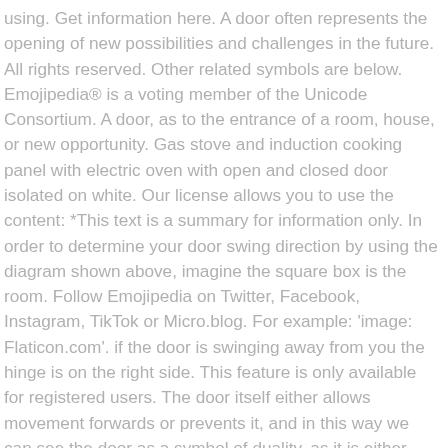using. Get information here. A door often represents the opening of new possibilities and challenges in the future. All rights reserved. Other related symbols are below. Emojipedia® is a voting member of the Unicode Consortium. A door, as to the entrance of a room, house, or new opportunity. Gas stove and induction cooking panel with electric oven with open and closed door isolated on white. Our license allows you to use the content: *This text is a summary for information only. In order to determine your door swing direction by using the diagram shown above, imagine the square box is the room. Follow Emojipedia on Twitter, Facebook, Instagram, TikTok or Micro.blog. For example: 'image: Flaticon.com'. if the door is swinging away from you the hinge is on the right side. This feature is only available for registered users. The door itself either allows movement forwards or prevents it, and in this way we can see the door as a symbol of duality, as it is either closed or open, locked or unlocked. *an open door – To dream of seeing an open door symbolizes a new stage in your waking life – one filled with chances and opportunities. May represent literal doors and related concepts (e.g., rooms, houses) but often used figuratively (e.g., opening or closing metaphorical doors). Using it for web? Add to Likebox #100600535 - a man in a business suit is knocking at the door, an isometric.. Vector. May